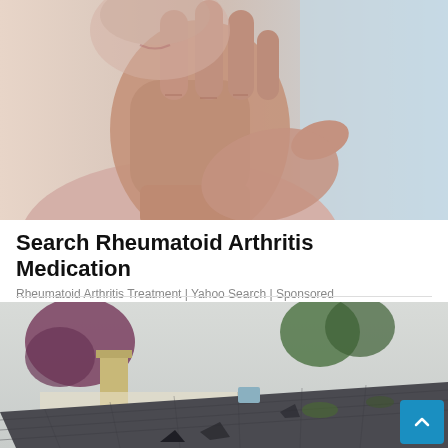[Figure (photo): Elderly woman holding up her hand showing arthritic fingers, rubbing wrist, wearing pink clothing, blurred blue background]
Search Rheumatoid Arthritis Medication
Rheumatoid Arthritis Treatment | Yahoo Search | Sponsored
[Figure (photo): Damaged roof with missing shingles on a house, chimney visible, trees with purple/red leaves in background, overcast sky]